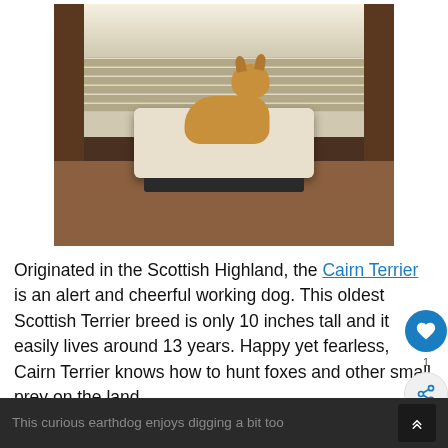[Figure (photo): A golden/tan Cairn Terrier dog resting on a white elevated pet bed/cot in front of a window with horizontal blinds. The room has dark wood flooring and dark wood window frames. Natural light filters through the blinds.]
Originated in the Scottish Highland, the Cairn Terrier is an alert and cheerful working dog. This oldest Scottish Terrier breed is only 10 inches tall and it easily lives around 13 years. Happy yet fearless, Cairn Terrier knows how to hunt foxes and other small prey on the land.
This curious earthdog enjoys digging a bit too